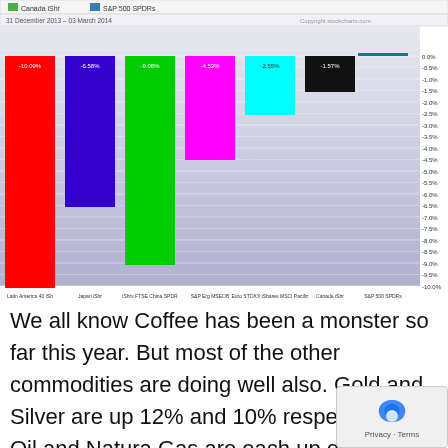[Figure (bar-chart): 31 December 2013 – 03 March 2014]
We all know Coffee has been a monster so far this year. But most of the other commodities are doing well also. Gold and Silver are up 12% and 10% respectively, Oil and Natural Gas are each up over 6% and one of my favorites: Corn is up 11.5%. I know the energy